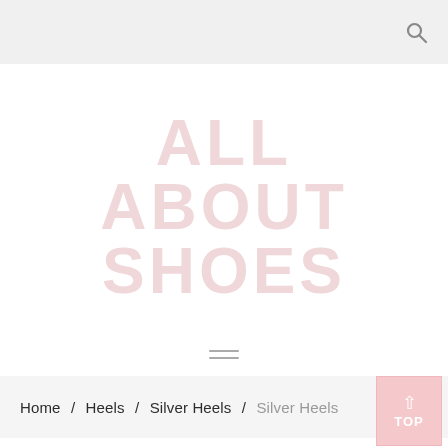Navigation bar with search icon
[Figure (logo): All About Shoes logo text displayed in large light pink block letters stacked: ALL / ABOUT / SHOES]
[Figure (other): Hamburger menu icon with three horizontal lines]
Home / Heels / Silver Heels / Silver Heels
[Figure (other): TOP button - pink button with upward arrow and text TOP]